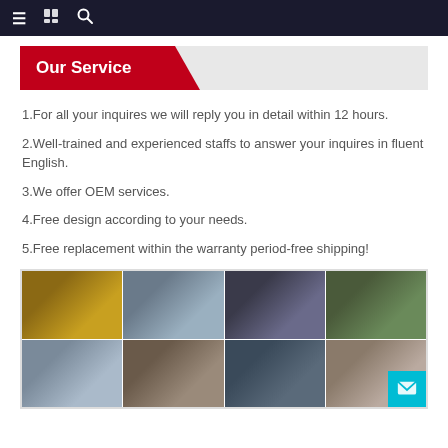≡  [book icon]  🔍
Our Service
1.For all your inquires we will reply you in detail within 12 hours.
2.Well-trained and experienced staffs to answer your inquires in fluent English.
3.We offer OEM services.
4.Free design according to your needs.
5.Free replacement within the warranty period-free shipping!
[Figure (photo): Grid of trade show / exhibition photos showing company staff and booth displays at various events. Two rows of 4 photos each.]